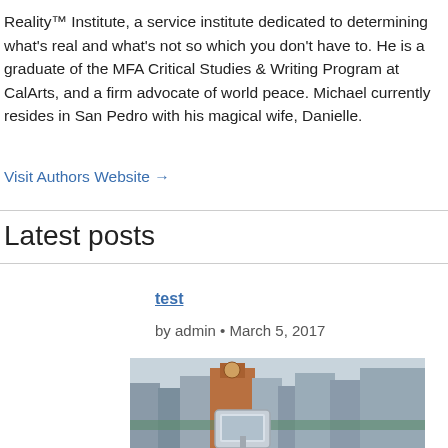Reality™ Institute, a service institute dedicated to determining what's real and what's not so which you don't have to. He is a graduate of the MFA Critical Studies & Writing Program at CalArts, and a firm advocate of world peace. Michael currently resides in San Pedro with his magical wife, Danielle.
Visit Authors Website →
Latest posts
test
by admin • March 5, 2017
[Figure (photo): City skyline photo with a device in the foreground, buildings including a clock tower visible in the background]